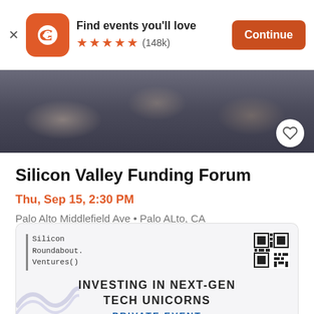Find events you'll love ★★★★★ (148k) Continue
[Figure (photo): Crowd of people at an event, dark tones]
Silicon Valley Funding Forum
Thu, Sep 15, 2:30 PM
Palo Alto Middlefield Ave • Palo ALto, CA
$0 - $495
[Figure (infographic): Silicon Roundabout Ventures() ad card with QR code and text: INVESTING IN NEXT-GEN TECH UNICORNS, PRIVATE EVENT]